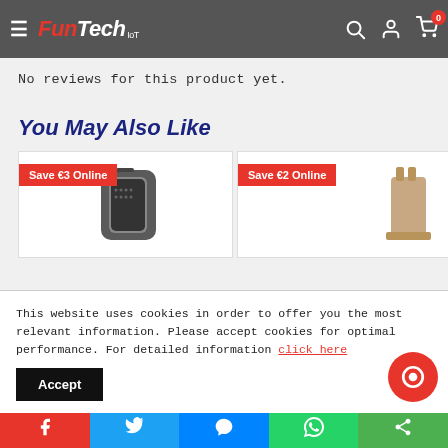FunTech IoT - navigation header with menu, logo, search, account, cart
No reviews for this product yet.
You May Also Like
[Figure (photo): Two product cards: first shows a phone case with 'Save €3 Online' badge, second shows a product with 'Save €2 Online' badge]
This website uses cookies in order to offer you the most relevant information. Please accept cookies for optimal performance. For detailed information click here
Accept